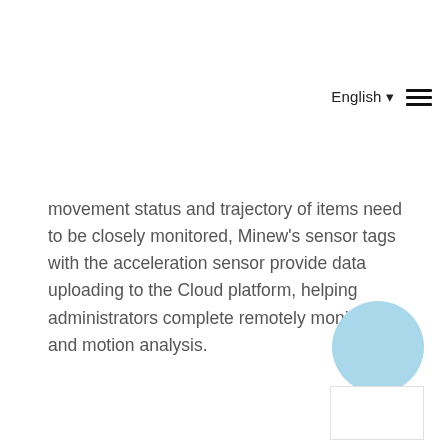English ▾ ≡
movement status and trajectory of items need to be closely monitored, Minew's sensor tags with the acceleration sensor provide data uploading to the Cloud platform, helping administrators complete remotely monitoring and motion analysis.
[Figure (illustration): Light blue circle icon in lower right area]